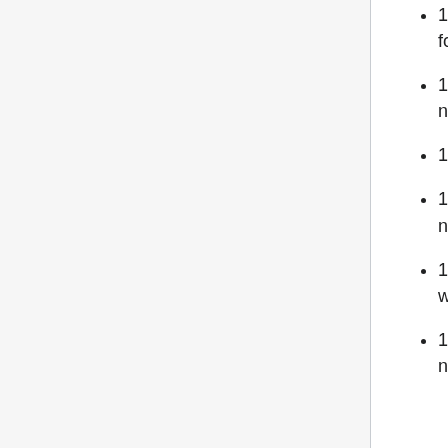16:04 mmandere@cumin1001: START - Cookbook sre.hosts.reimage for host cp4033.ulsfo.wmnet with OS buster
15:59 jelto@deploy1002: helmfile [staging] Ran 'sync' command on namespace 'mathoid' for release 'staging' .
15:58 mmandere: depool cp4033.ulsfo.wmnet - T290694
15:57 jelto@deploy1002: helmfile [staging] Ran 'sync' command on namespace 'linkrecommendation' for release 'staging' .
15:51 hnowlan: rolling restart-php7.2-fpm on A:mw-api-codfw to pick up wikidiff2 upgrade
15:47 jelto@deploy1002: helmfile [staging] Ran 'sync' command on namespace 'eventstreams-internal'